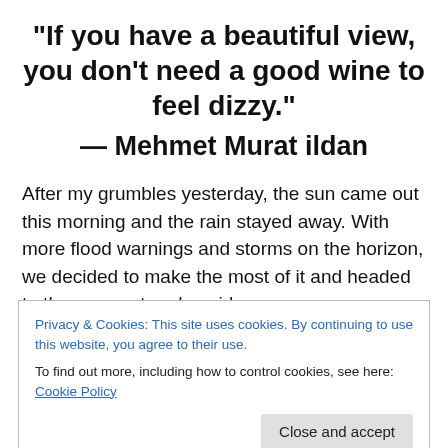“If you have a beautiful view, you don’t need a good wine to feel dizzy.”
— Mehmet Murat ildan
After my grumbles yesterday, the sun came out this morning and the rain stayed away. With more flood warnings and storms on the horizon, we decided to make the most of it and headed to the very wet and squidgy
Privacy & Cookies: This site uses cookies. By continuing to use this website, you agree to their use.
To find out more, including how to control cookies, see here: Cookie Policy
puddles and rivers, William sent the GoPro up with the